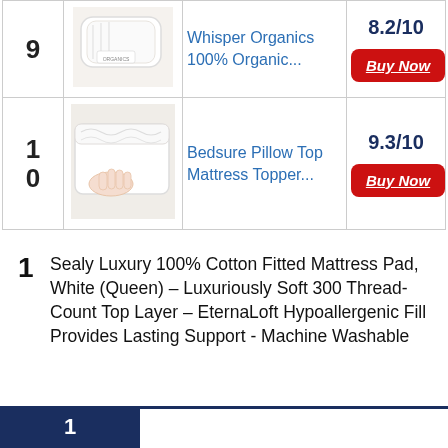| Rank | Image | Product | Score/Buy |
| --- | --- | --- | --- |
| 9 | [Whisper Organics image] | Whisper Organics 100% Organic... | 8.2/10 | Buy Now |
| 10 | [Bedsure image] | Bedsure Pillow Top Mattress Topper... | 9.3/10 | Buy Now |
1  Sealy Luxury 100% Cotton Fitted Mattress Pad, White (Queen) – Luxuriously Soft 300 Thread-Count Top Layer – EternaLoft Hypoallergenic Fill Provides Lasting Support - Machine Washable
1